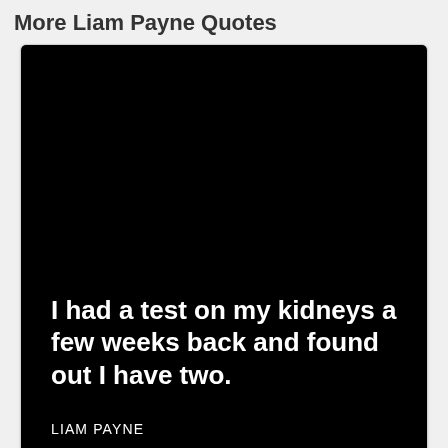More Liam Payne Quotes
[Figure (illustration): Black card with white bold quote text reading 'I had a test on my kidneys a few weeks back and found out I have two.' attributed to LIAM PAYNE]